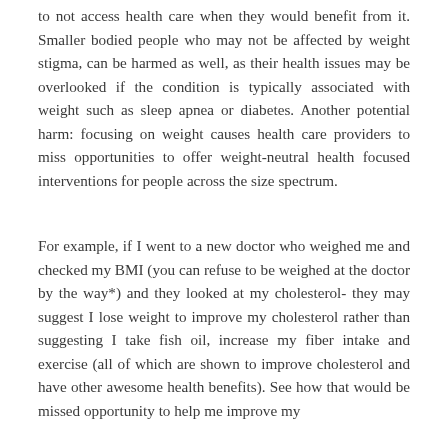to not access health care when they would benefit from it. Smaller bodied people who may not be affected by weight stigma, can be harmed as well, as their health issues may be overlooked if the condition is typically associated with weight such as sleep apnea or diabetes. Another potential harm: focusing on weight causes health care providers to miss opportunities to offer weight-neutral health focused interventions for people across the size spectrum.
For example, if I went to a new doctor who weighed me and checked my BMI (you can refuse to be weighed at the doctor by the way*) and they looked at my cholesterol- they may suggest I lose weight to improve my cholesterol rather than suggesting I take fish oil, increase my fiber intake and exercise (all of which are shown to improve cholesterol and have other awesome health benefits). See how that would be missed opportunity to help me improve my